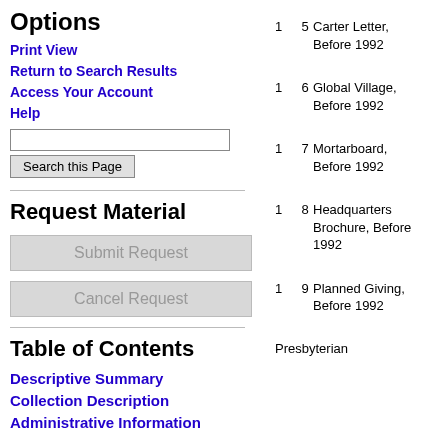Options
Print View
Return to Search Results
Access Your Account
Help
Request Material
Submit Request
Cancel Request
Table of Contents
Descriptive Summary
Collection Description
Administrative Information
1 5 Carter Letter, Before 1992
1 6 Global Village, Before 1992
1 7 Mortarboard, Before 1992
1 8 Headquarters Brochure, Before 1992
1 9 Planned Giving, Before 1992
Presbyterian